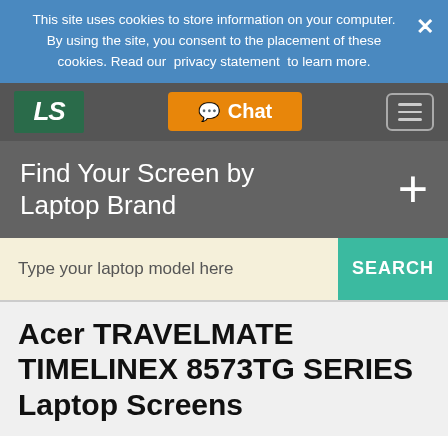This site uses cookies to store information on your computer. By using the site, you consent to the placement of these cookies. Read our privacy statement to learn more.
[Figure (screenshot): Website navigation bar with LS logo, Chat button, and hamburger menu icon]
Find Your Screen by Laptop Brand
Type your laptop model here
Acer TRAVELMATE TIMELINEX 8573TG SERIES Laptop Screens
Do you need Matte or Glossy? info
Glossy